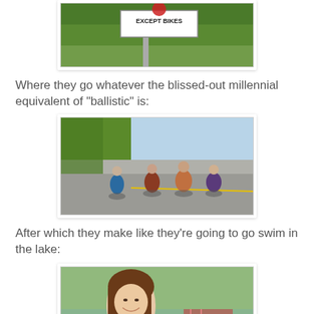[Figure (photo): Partial photo at top showing a street sign reading 'EXCEPT BIKES' with trees in background]
Where they go whatever the blissed-out millennial equivalent of "ballistic" is:
[Figure (photo): Group of young people riding bicycles on a sunny street with trees]
After which they make like they're going to go swim in the lake:
[Figure (photo): Young woman smiling outdoors near water, partially visible]